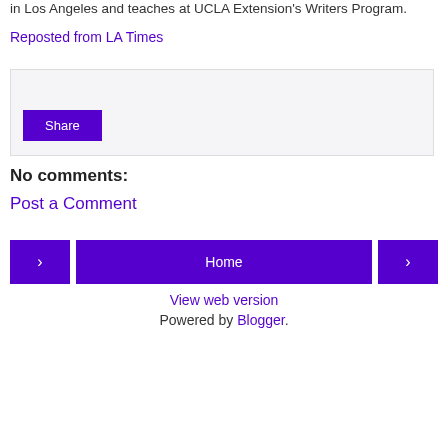in Los Angeles and teaches at UCLA Extension's Writers Program.
Reposted from LA Times
[Figure (other): Share box with a Share button on a light gray background]
No comments:
Post a Comment
[Figure (other): Navigation bar with previous (left arrow), Home, and next (right arrow) buttons in purple]
View web version
Powered by Blogger.